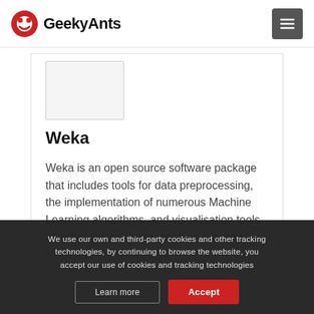GeekyAnts
[Figure (other): White rectangular placeholder box, likely a logo or product image thumbnail]
Weka
Weka is an open source software package that includes tools for data preprocessing, the implementation of numerous Machine Learning algorithms, and visualisation tools, allowing you to create machine learning models to work with data
We use our own and third-party cookies and other tracking technologies, by continuing to browse the website, you accept our use of cookies and tracking technologies